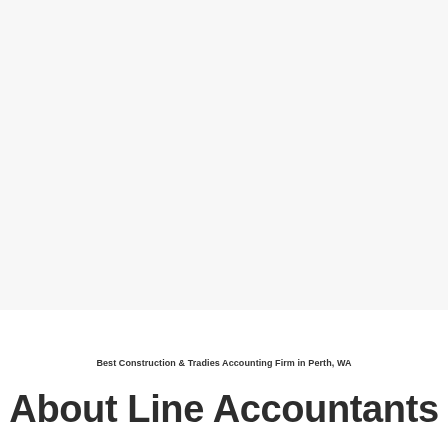Best Construction & Tradies Accounting Firm in Perth, WA
About Line Accountants